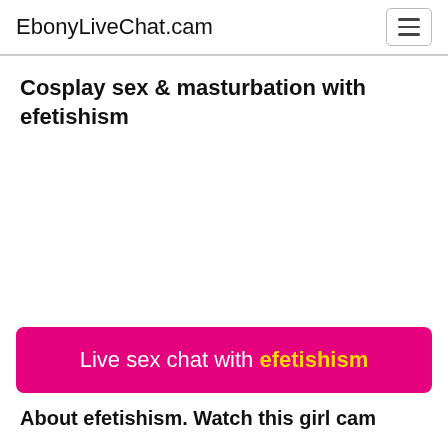EbonyLiveChat.cam
Cosplay sex & masturbation with efetishism
[Figure (other): Blank white content area (video/image placeholder)]
Live sex chat with efetishism
About efetishism. Watch this girl cam